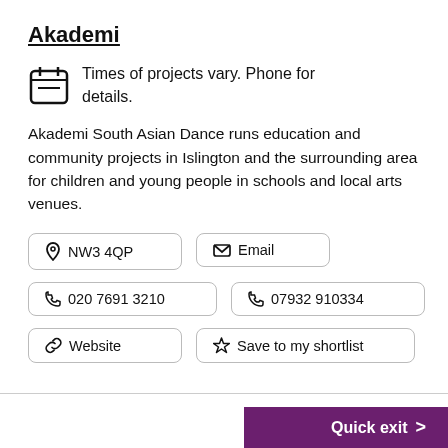Akademi
Times of projects vary. Phone for details.
Akademi South Asian Dance runs education and community projects in Islington and the surrounding area for children and young people in schools and local arts venues.
NW3 4QP
Email
020 7691 3210
07932 910334
Website
Save to my shortlist
Quick exit >